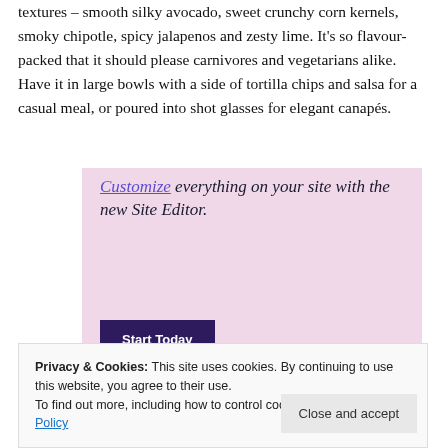textures – smooth silky avocado, sweet crunchy corn kernels, smoky chipotle, spicy jalapenos and zesty lime. It's so flavour-packed that it should please carnivores and vegetarians alike. Have it in large bowls with a side of tortilla chips and salsa for a casual meal, or poured into shot glasses for elegant canapés.
[Figure (screenshot): WordPress site editor advertisement with pink background showing 'Customize everything on your site with the new Site Editor.' text and a 'Start Today' button]
Privacy & Cookies: This site uses cookies. By continuing to use this website, you agree to their use.
To find out more, including how to control cookies, see here: Cookie Policy